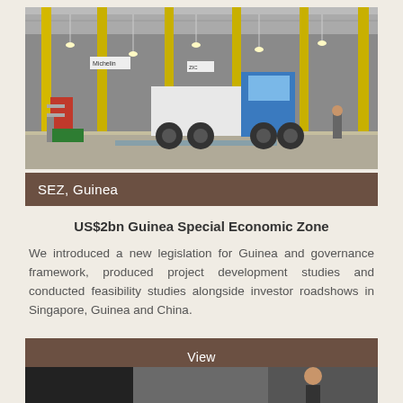[Figure (photo): Industrial warehouse interior with large yellow support columns, a white and green truck/semi-tractor vehicle, and workers in the background. High ceiling with industrial lighting.]
SEZ, Guinea
US$2bn Guinea Special Economic Zone
We introduced a new legislation for Guinea and governance framework, produced project development studies and conducted feasibility studies alongside investor roadshows in Singapore, Guinea and China.
View
[Figure (photo): Partial view of a second photo at the bottom of the page, showing people in an indoor setting.]